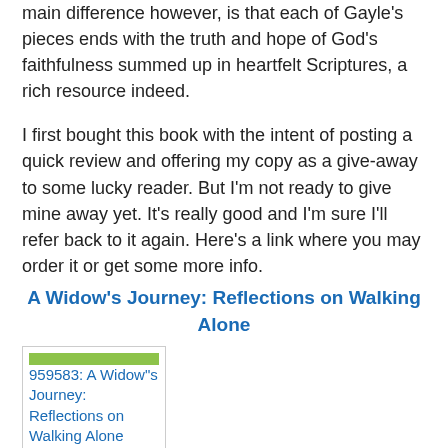main difference however, is that each of Gayle's pieces ends with the truth and hope of God's faithfulness summed up in heartfelt Scriptures, a rich resource indeed.
I first bought this book with the intent of posting a quick review and offering my copy as a give-away to some lucky reader. But I'm not ready to give mine away yet. It's really good and I'm sure I'll refer back to it again. Here's a link where you may order it or get some more info.
A Widow's Journey: Reflections on Walking Alone
[Figure (other): Book cover image placeholder for A Widow's Journey: Reflections on Walking Alone]
Please visit again when next time I will introduce you to Gayle herself. She's an award-winning author of more than 50 books, and one of the most down-to-earth women you'll ever meet. I know you'll enjoy my interview with her.
P.S. Oh, and if you're wondering about her answer to Does